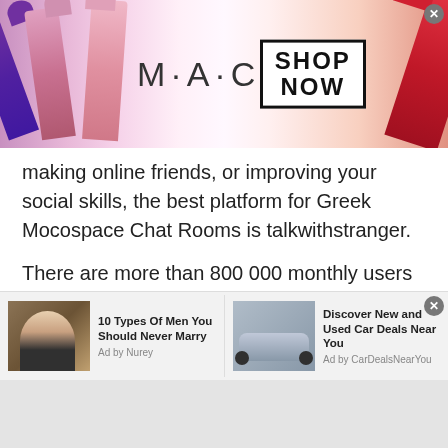[Figure (photo): MAC Cosmetics advertisement banner showing lipsticks on left and right, MAC logo in center with SHOP NOW button in a box]
making online friends, or improving your social skills, the best platform for Greek Mocospace Chat Rooms is talkwithstranger.
There are more than 800 000 monthly users for Talkwithstranger and the number of users expands with 12000 more users joining the stranger chat app every day. These numbers are enough to estimate the popularity of the platform. Unlike most ordinary chat sites, Talkwithstranger allows you to chat for free to build
[Figure (photo): Advertisement: 10 Types Of Men You Should Never Marry - Ad by Nurey, showing man with cigar]
[Figure (photo): Advertisement: Discover New and Used Car Deals Near You - Ad by CarDealsNearYou, showing silver car]